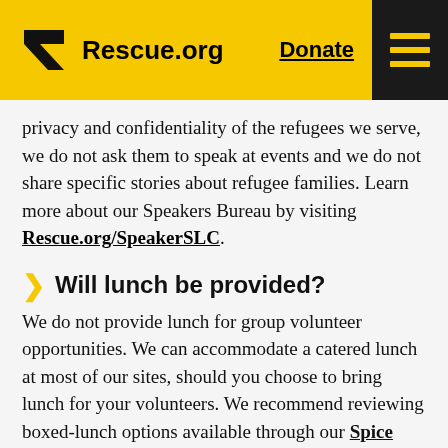Rescue.org | Donate
privacy and confidentiality of the refugees we serve, we do not ask them to speak at events and we do not share specific stories about refugee families. Learn more about our Speakers Bureau by visiting Rescue.org/SpeakerSLC.
Will lunch be provided?
We do not provide lunch for group volunteer opportunities. We can accommodate a catered lunch at most of our sites, should you choose to bring lunch for your volunteers. We recommend reviewing boxed-lunch options available through our Spice Kitchen Incubator program to double your support of our work